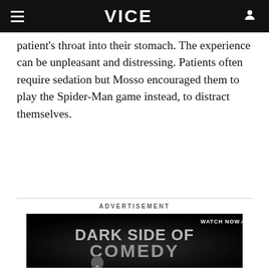VICE
patient's throat into their stomach. The experience can be unpleasant and distressing. Patients often require sedation but Mosso encouraged them to play the Spider-Man game instead, to distract themselves.
ADVERTISEMENT
[Figure (illustration): Advertisement for 'Dark Side of Comedy' with a microphone on a dark background and 'WATCH NOW' button in top right]